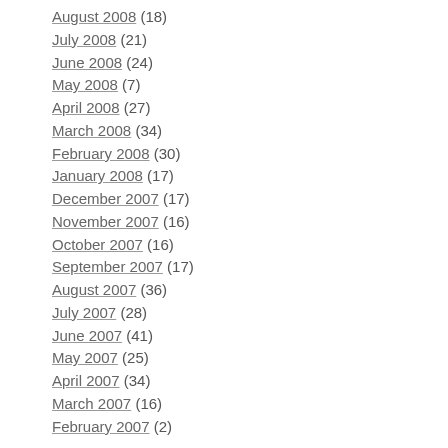August 2008 (18)
July 2008 (21)
June 2008 (24)
May 2008 (7)
April 2008 (27)
March 2008 (34)
February 2008 (30)
January 2008 (17)
December 2007 (17)
November 2007 (16)
October 2007 (16)
September 2007 (17)
August 2007 (36)
July 2007 (28)
June 2007 (41)
May 2007 (25)
April 2007 (34)
March 2007 (16)
February 2007 (2)